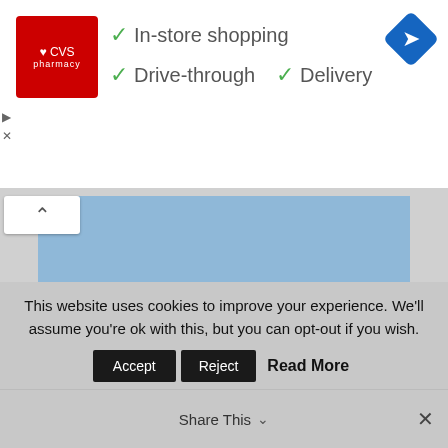[Figure (screenshot): CVS Pharmacy advertisement banner with logo, checkmarks for In-store shopping, Drive-through, Delivery, and a navigation/directions icon]
[Figure (photo): Photograph of a white two-story U.S. Coast Guard building with a red roof, green-trimmed windows, a central entrance with columns, and steps leading to the front door]
This website uses cookies to improve your experience. We'll assume you're ok with this, but you can opt-out if you wish.
Accept  Reject  Read More  Share This  ×